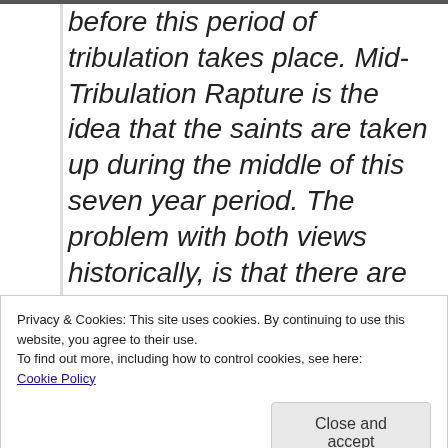before this period of tribulation takes place. Mid-Tribulation Rapture is the idea that the saints are taken up during the middle of this seven year period. The problem with both views historically, is that there are ample scriptures which predict
Privacy & Cookies: This site uses cookies. By continuing to use this website, you agree to their use.
To find out more, including how to control cookies, see here:
Cookie Policy
Close and accept
glorified God through martyrdom